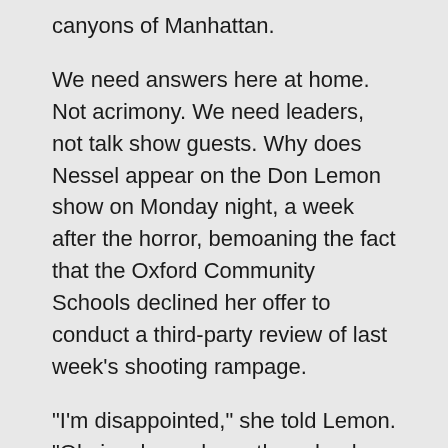canyons of Manhattan.
We need answers here at home. Not acrimony. We need leaders, not talk show guests. Why does Nessel appear on the Don Lemon show on Monday night, a week after the horror, bemoaning the fact that the Oxford Community Schools declined her offer to conduct a third-party review of last week's shooting rampage.
“I’m disappointed,” she told Lemon. “Obviously, we hope the school district cares as much about the safety of their students as they do shielding themselves from civil liability.”